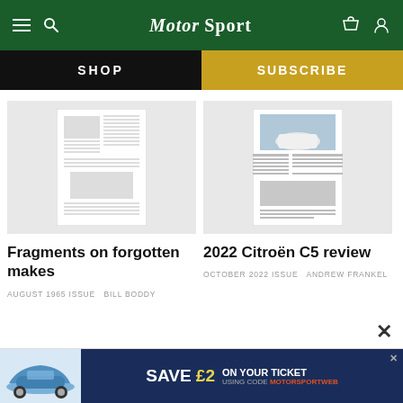Motor Sport
SHOP
SUBSCRIBE
[Figure (screenshot): Thumbnail of a Motor Sport magazine article page with vintage car illustration and dense text columns]
[Figure (screenshot): Thumbnail of a Motor Sport magazine article page showing a white Citroën C5 car on road]
Fragments on forgotten makes
AUGUST 1965 ISSUE   BILL BODDY
2022 Citroën C5 review
OCTOBER 2022 ISSUE   ANDREW FRANKEL
[Figure (infographic): Advertisement banner: Save £2 on your ticket using code MOTORSPORTWEB, with blue Porsche 911 car image on left]